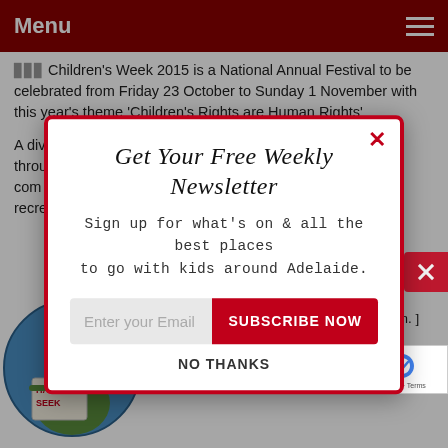Menu
Children's Week 2015 is a National Annual Festival to be celebrated from Friday 23 October to Sunday 1 November with this year's theme 'Children's Rights are Human Rights'
A div... throu... com... recre...
[Figure (screenshot): Newsletter signup modal popup with title 'Get Your Free Weekly Newsletter', subtitle 'Sign up for what’s on & all the best places to go with kids around Adelaide.', email input field, SUBSCRIBE NOW button, and NO THANKS link. Modal has red border and X close button.]
October 20, 2015
[ November 1, 2015; 10:30 am to 3:00 pm. ]
A family friendly, all ages ev... won't send you Baroque!